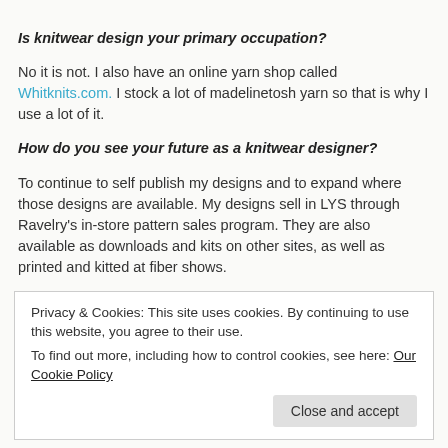Is knitwear design your primary occupation?
No it is not. I also have an online yarn shop called Whitknits.com. I stock a lot of madelinetosh yarn so that is why I use a lot of it.
How do you see your future as a knitwear designer?
To continue to self publish my designs and to expand where those designs are available. My designs sell in LYS through Ravelry's in-store pattern sales program. They are also available as downloads and kits on other sites, as well as printed and kitted at fiber shows.
Where can we follow you on social media? Blog?
Probably the best place to follow me is on facebook:https://www.facebook.com/Whitknits/?ref=hl
Privacy & Cookies: This site uses cookies. By continuing to use this website, you agree to their use.
To find out more, including how to control cookies, see here: Our Cookie Policy
Close and accept